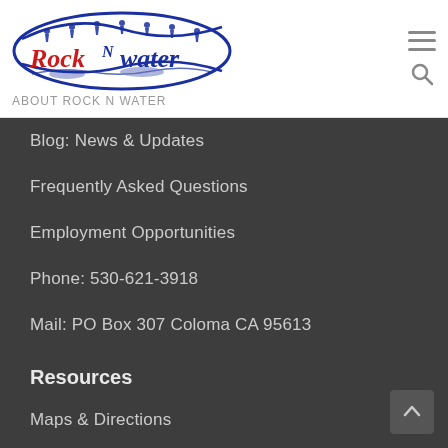[Figure (logo): Rock N Water logo with blue swoosh design and red lettering]
About Rock N Water
Blog: News & Updates
Frequently Asked Questions
Employment Opportunities
Phone: 530-621-3918
Mail: PO Box 307 Coloma CA 95613
Resources
Maps & Directions
Donate
Release Form
Weather Conditions
COVID-19 Updates